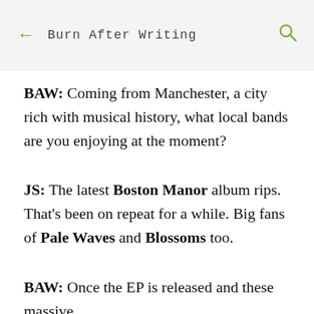← Burn After Writing 🔍
BAW: Coming from Manchester, a city rich with musical history, what local bands are you enjoying at the moment?
JS: The latest Boston Manor album rips. That's been on repeat for a while. Big fans of Pale Waves and Blossoms too.
BAW: Once the EP is released and these massive